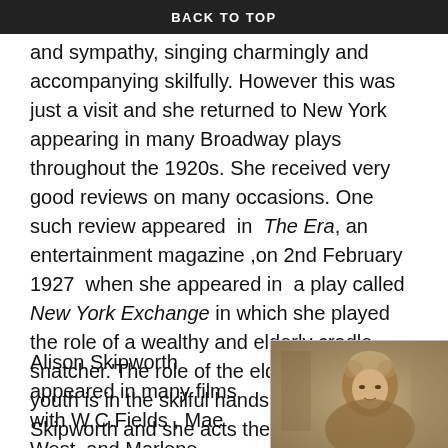BACK TO TOP
and sympathy, singing charmingly and accompanying skilfully. However this was just a visit and she returned to New York appearing in many Broadway plays throughout the 1920s. She received very good reviews on many occasions. One such review appeared in The Era, an entertainment magazine ,on 2nd February 1927 when she appeared in a play called New York Exchange in which she played the role of a wealthy and elderly cradle snatcher.'The role of the elderly pursuer of youth is in the skilful hands of Alison Skipworth and she acts the part for all its worth.' Alison made her movie debut in 1912 in silent films and by 1930,by which time she was in her sixties, she had moved to Hollywood and graduated to ‘talkies’. She played character roles in over 50 films.
Alison Skipworth appeared in many films with W.C.Fields , Mae West, and Marlene
[Figure (photo): Sepia-toned vintage photograph of Alison Skipworth, an elderly woman with curled white/grey hair, seated, looking to the side.]